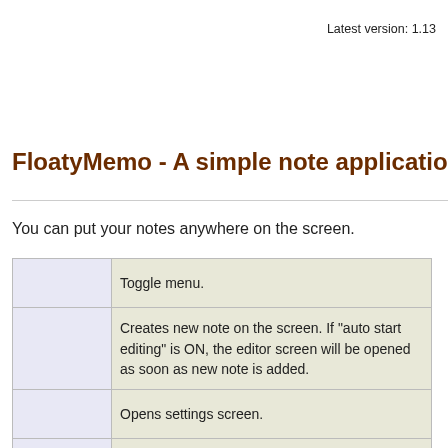Latest version: 1.13
FloatyMemo - A simple note application for iPhone/iP
You can put your notes anywhere on the screen.
| [icon] | Description |
| --- | --- |
|  | Toggle menu. |
|  | Creates new note on the screen. If "auto start editing" is ON, the editor screen will be opened as soon as new note is added. |
|  | Opens settings screen. |
|  |  |